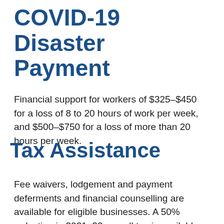COVID-19 Disaster Payment
Financial support for workers of $325–$450 for a loss of 8 to 20 hours of work per week, and $500–$750 for a loss of more than 20 hours per week.
Tax Assistance
Fee waivers, lodgement and payment deferments and financial counselling are available for eligible businesses. A 50% reduction in 2021–22 payroll tax is available